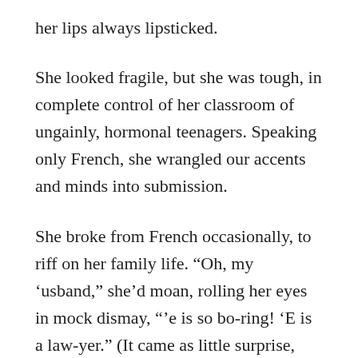her lips always lipsticked.
She looked fragile, but she was tough, in complete control of her classroom of ungainly, hormonal teenagers. Speaking only French, she wrangled our accents and minds into submission.
She broke from French occasionally, to riff on her family life. “Oh, my ‘usband,” she’d moan, rolling her eyes in mock dismay, “’e is so bo-ring! ‘E is a law-yer.” (It came as little surprise, years later, when I heard that she’d divorced.)